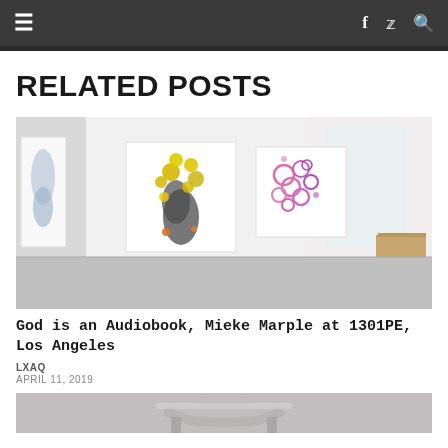≡  f  🐦  🔍
RELATED POSTS
[Figure (photo): Art gallery interior showing two framed artworks on white walls: one with yellow flowers and dark botanical shapes, one with pink and purple circular forms. A wooden object is visible in the lower right corner.]
God is an Audiobook, Mieke Marple at 1301PE, Los Angeles
LXAQ
APRIL 11, 2019
[Figure (photo): Partial view of a second related post image, cropped at bottom of page.]